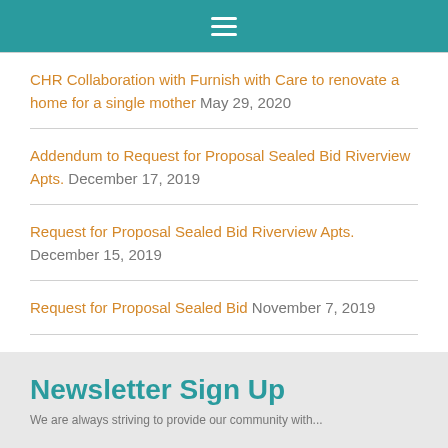Navigation menu
CHR Collaboration with Furnish with Care to renovate a home for a single mother May 29, 2020
Addendum to Request for Proposal Sealed Bid Riverview Apts. December 17, 2019
Request for Proposal Sealed Bid Riverview Apts. December 15, 2019
Request for Proposal Sealed Bid November 7, 2019
Newsletter Sign Up
We are always striving to provide our community with...